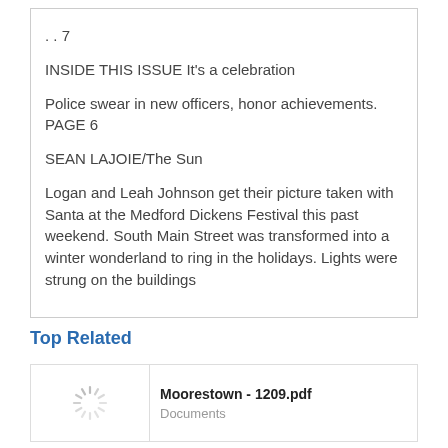. . 7
INSIDE THIS ISSUE It's a celebration
Police swear in new officers, honor achievements. PAGE 6
SEAN LAJOIE/The Sun
Logan and Leah Johnson get their picture taken with Santa at the Medford Dickens Festival this past weekend. South Main Street was transformed into a winter wonderland to ring in the holidays. Lights were strung on the buildings
Top Related
[Figure (screenshot): Thumbnail for Moorestown - 1209.pdf with loading spinner]
Moorestown - 1209.pdf
Documents
[Figure (screenshot): Thumbnail for Medford - 0107.pdf with loading spinner]
Medford - 0107.pdf
Documents